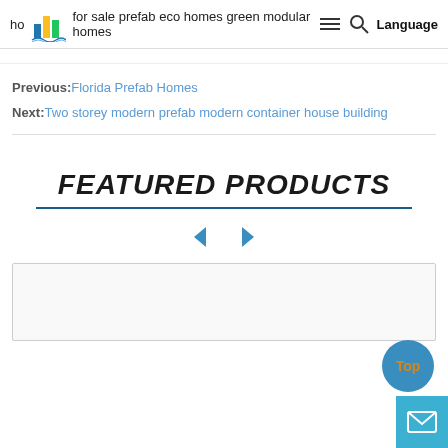ho for sale prefab eco homes green modular homes Language
Previous: Florida Prefab Homes
Next: Two storey modern prefab modern container house building
FEATURED PRODUCTS